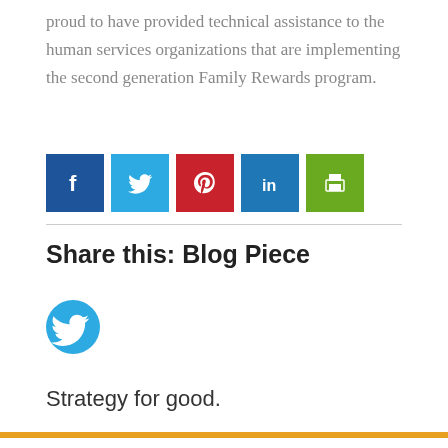proud to have provided technical assistance to the human services organizations that are implementing the second generation Family Rewards program.
[Figure (infographic): Row of five social media share buttons: Facebook (dark blue), Twitter (light blue), Pinterest (red), LinkedIn (medium blue), Print (green)]
Share this: Blog Piece
[Figure (infographic): Twitter circle icon button in light blue]
Strategy for good.